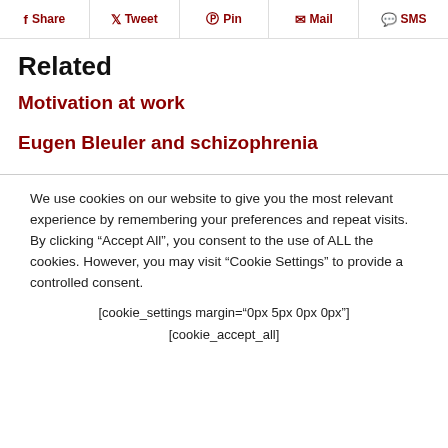f Share  y Tweet  Pin  Mail  SMS
Related
Motivation at work
Eugen Bleuler and schizophrenia
We use cookies on our website to give you the most relevant experience by remembering your preferences and repeat visits. By clicking “Accept All”, you consent to the use of ALL the cookies. However, you may visit “Cookie Settings” to provide a controlled consent.
[cookie_settings margin="0px 5px 0px 0px"] [cookie_accept_all]